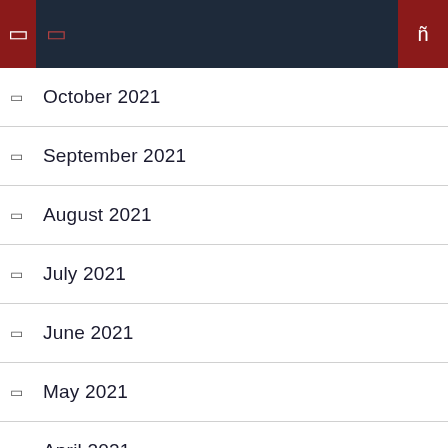Navigation bar with menu and search icons
October 2021
September 2021
August 2021
July 2021
June 2021
May 2021
April 2021
March 2021
July 2020
June 2020